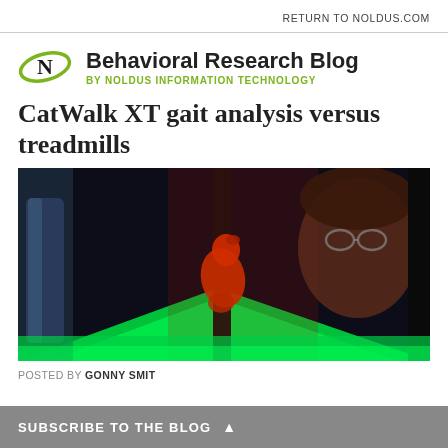RETURN TO NOLDUS.COM
[Figure (logo): Noldus Information Technology logo — stylized N with orbital ellipse, green and black]
Behavioral Research Blog
BY NOLDUS INFORMATION TECHNOLOGY
CatWalk XT gait analysis versus treadmills
[Figure (photo): Researcher examining a red-lit mouse or small rodent on a CatWalk XT gait analysis platform with green fluorescent illumination; the researcher wears glasses and is visible in the dark background.]
POSTED BY GONNY SMIT
SUBSCRIBE TO THE BLOG